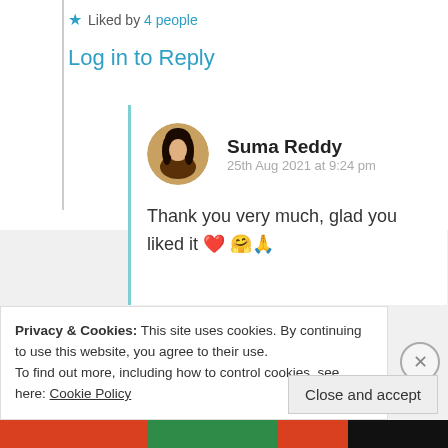★ Liked by 4 people
Log in to Reply
Suma Reddy
25th Aug 2021 at 9:24 pm
Thank you very much, glad you liked it ❤️🤗🙏
Privacy & Cookies: This site uses cookies. By continuing to use this website, you agree to their use.
To find out more, including how to control cookies, see here: Cookie Policy
Close and accept